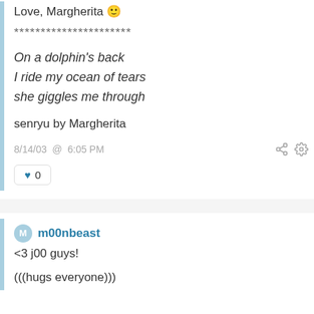Love, Margherita 🙂
**********************
On a dolphin's back
I ride my ocean of tears
she giggles me through
senryu by Margherita
8/14/03 @ 6:05 PM
♥ 0
m00nbeast
<3 j00 guys!
(((hugs everyone)))